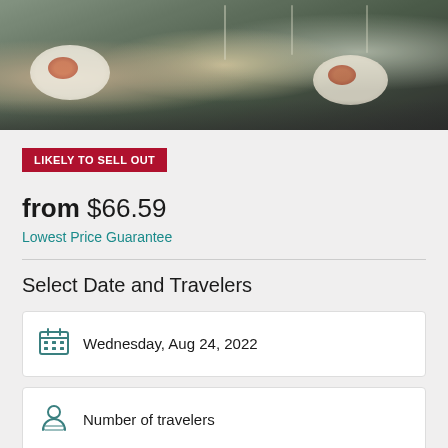[Figure (photo): Top banner photo of an outdoor dining table set with plates of food, wine glasses, and table settings. The image shows a white tablecloth with colorful dishes.]
LIKELY TO SELL OUT
from $66.59
Lowest Price Guarantee
Select Date and Travelers
Wednesday, Aug 24, 2022
Number of travelers
Check Availability